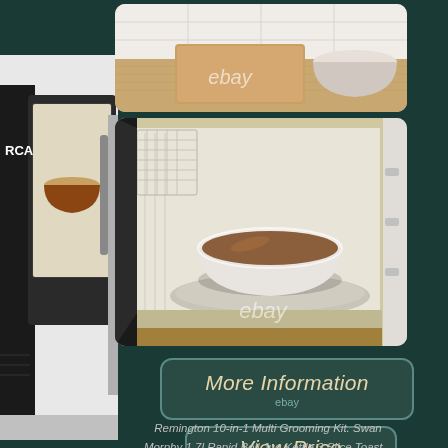[Figure (photo): Kitchen counter top view with wooden cutting board and bowl, ebay watermark]
[Figure (photo): Interior of a microwave oven with a white bowl containing brown soup/food on a turntable, ebay watermark]
[Figure (photo): Left side: RCA microwave oven product image shown from the side]
More Information
ebay
View Price
ebay
Remington 10-in-1 Multi Grooming Kit. Swan Morphy 1.7l Rapid Boil Jug Kettle 3 Slice Toaster